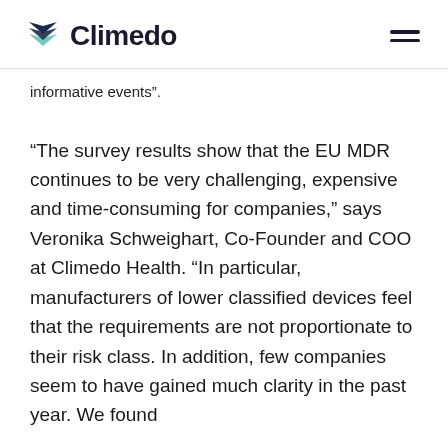Climedo
informative events”.
“The survey results show that the EU MDR continues to be very challenging, expensive and time-consuming for companies,” says Veronika Schweighart, Co-Founder and COO at Climedo Health. “In particular, manufacturers of lower classified devices feel that the requirements are not proportionate to their risk class. In addition, few companies seem to have gained much clarity in the past year. We found